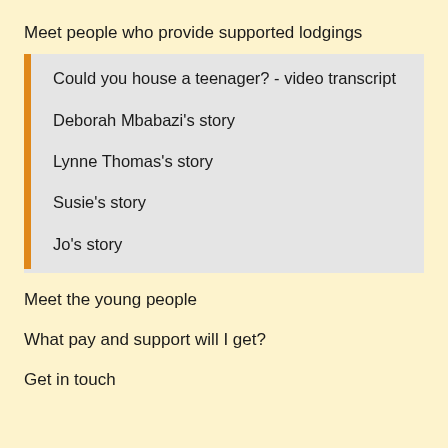Meet people who provide supported lodgings
Could you house a teenager? - video transcript
Deborah Mbabazi's story
Lynne Thomas's story
Susie's story
Jo's story
Meet the young people
What pay and support will I get?
Get in touch